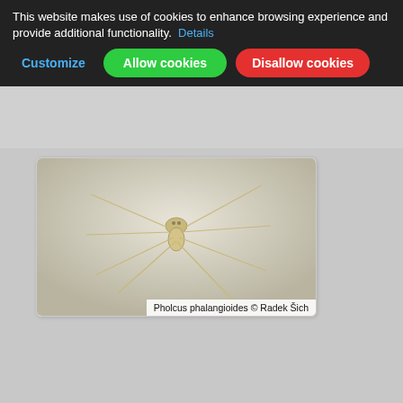This website makes use of cookies to enhance browsing experience and provide additional functionality. Details | Customize | Allow cookies | Disallow cookies
[Figure (photo): Close-up photo of Pholcus phalangioides (daddy long-legs spider) on white background, showing long thin legs and small body]
Pholcus phalangioides © Radek Šich
[Figure (photo): Close-up photo of Phlegra fasciata (jumping spider) on wood surface, dark colored spider with striped markings]
Phlegra fasciata © Radek Šich
[Figure (photo): Partial photo of a camouflaged spider on rough surface, mostly cut off at bottom of page]